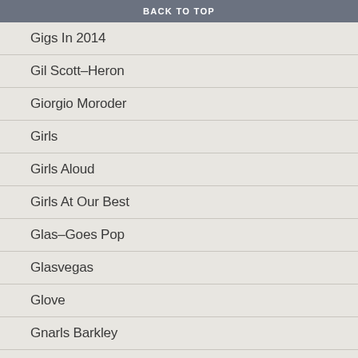BACK TO TOP
Gigs In 2014
Gil Scott–Heron
Giorgio Moroder
Girls
Girls Aloud
Girls At Our Best
Glas–Goes Pop
Glasvegas
Glove
Gnarls Barkley
Go Sailor
Go! Team
Go-Betweens